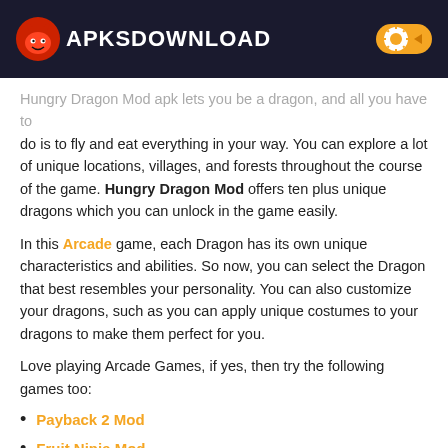APKSDOWNLOAD
Hungry Dragon Mod apk lets you be a dragon, and all you have to do is to fly and eat everything in your way. You can explore a lot of unique locations, villages, and forests throughout the course of the game. Hungry Dragon Mod offers ten plus unique dragons which you can unlock in the game easily.
In this Arcade game, each Dragon has its own unique characteristics and abilities. So now, you can select the Dragon that best resembles your personality. You can also customize your dragons, such as you can apply unique costumes to your dragons to make them perfect for you.
Love playing Arcade Games, if yes, then try the following games too:
Payback 2 Mod
Fruit Ninja Mod